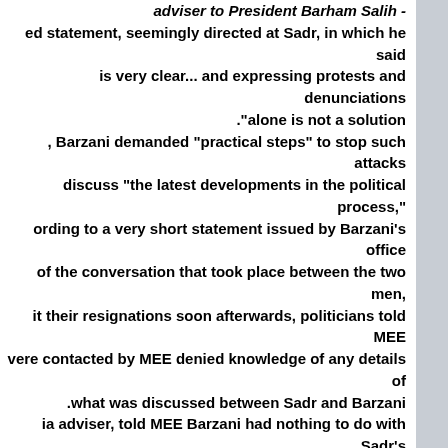adviser to President Barham Salih - ed statement, seemingly directed at Sadr, in which he said is very clear... and expressing protests and denunciations ."alone is not a solution , Barzani demanded "practical steps" to stop such attacks discuss "the latest developments in the political process," ording to a very short statement issued by Barzani's office of the conversation that took place between the two men, it their resignations soon afterwards, politicians told MEE vere contacted by MEE denied knowledge of any details of .what was discussed between Sadr and Barzani ia adviser, told MEE Barzani had nothing to do with Sadr's as a result of the intra-Shia dispute between the cleric and .his Iran-backed rivals r failed to impose his will on the Coordination Framework, ".and to implement his project, he chose to withdraw
[Figure (photo): Aerial photograph showing a war-damaged city with destroyed buildings, rubble, and ruins spread across a wide urban area under a hazy sky.]